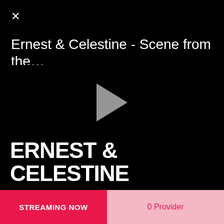×
Ernest & Celestine - Scene from the…
[Figure (screenshot): Black video player area with a gray play button triangle in the center]
ERNEST & CELESTINE
STREAMING NOW   0 Provider